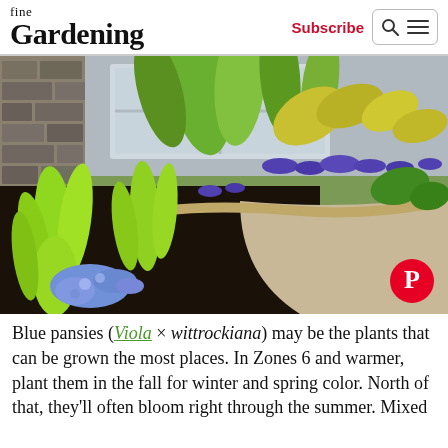fine Gardening — Subscribe
[Figure (photo): Garden bed with blue pansies and bright green spiky plants along a curved stone border path, with taller tropical-looking foliage and purple flowers behind, stone wall and building in background. Pinterest icon overlaid bottom-right.]
Blue pansies (Viola × wittrockiana) may be the plants that can be grown the most places. In Zones 6 and warmer, plant them in the fall for winter and spring color. North of that, they'll often bloom right through the summer. Mixed